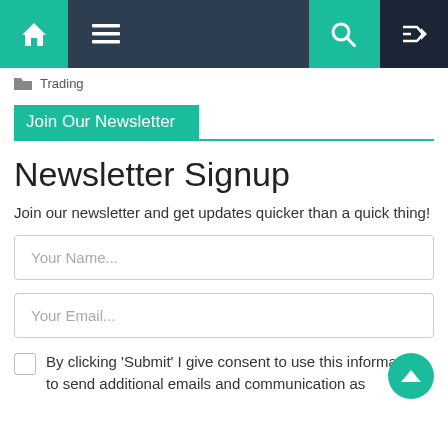[Figure (screenshot): Navigation bar with home icon (teal), hamburger menu icon, search icon (teal), and shuffle icon on dark background]
Trading
Join Our Newsletter
Newsletter Signup
Join our newsletter and get updates quicker than a quick thing!
Your Name...
Your Email...
By clicking 'Submit' I give consent to use this information to send additional emails and communication as